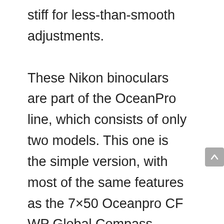stiff for less-than-smooth adjustments.

These Nikon binoculars are part of the OceanPro line, which consists of only two models. This one is the simple version, with most of the same features as the 7×50 Oceanpro CF WP Global Compass model. The 7×50 OceanPro lacks the Eco-Glass lenses and it doesn't include the built-in compass found on the CF WP model but it is just as durable and somewhat lighter without the extra hardware. This version also costs about half of what you'd pay for the CF WP